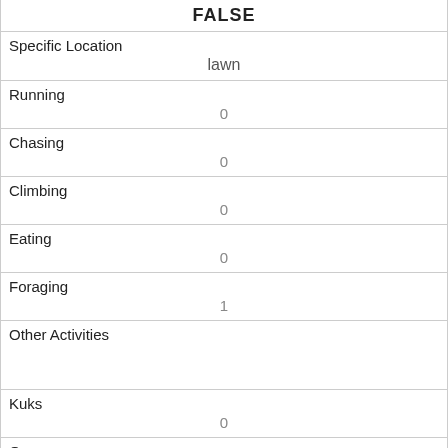| FALSE |
| Specific Location
lawn |
| Running
0 |
| Chasing
0 |
| Climbing
0 |
| Eating
0 |
| Foraging
1 |
| Other Activities
 |
| Kuks
0 |
| Quaas
0 |
| Moans
0 |